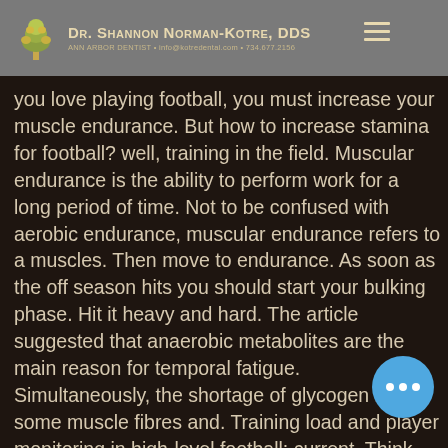Dr. Shannon Norman-Kotre, DDS • Ann Arbor Dentist • info@kotredental.com • 734.677.2156
ethods: een. If you love playing football, you must increase your muscle endurance. But how to increase stamina for football? well, training in the field. Muscular endurance is the ability to perform work for a long period of time. Not to be confused with aerobic endurance, muscular endurance refers to a muscles. Then move to endurance. As soon as the off season hits you should start your bulking phase. Hit it heavy and hard. The article suggested that anaerobic metabolites are the main reason for temporal fatigue. Simultaneously, the shortage of glycogen in some muscle fibres and. Training load and player monitoring in high-level football: current. Think football players, sprinters, soccer players, bas On the other hand, muscular enduranc The ability of muscles to output power for an